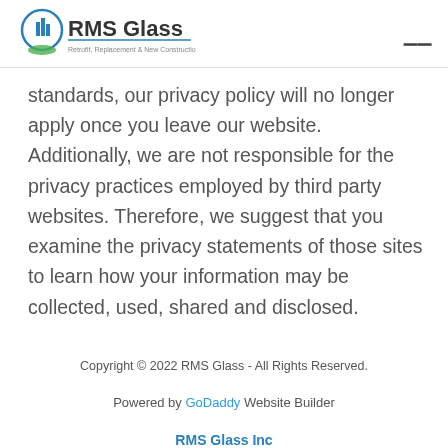RMS Glass — Retrofit, Replacement & New Construction Solutions
standards, our privacy policy will no longer apply once you leave our website. Additionally, we are not responsible for the privacy practices employed by third party websites. Therefore, we suggest that you examine the privacy statements of those sites to learn how your information may be collected, used, shared and disclosed.
Copyright © 2022 RMS Glass - All Rights Reserved.
Powered by GoDaddy Website Builder
RMS Glass Inc